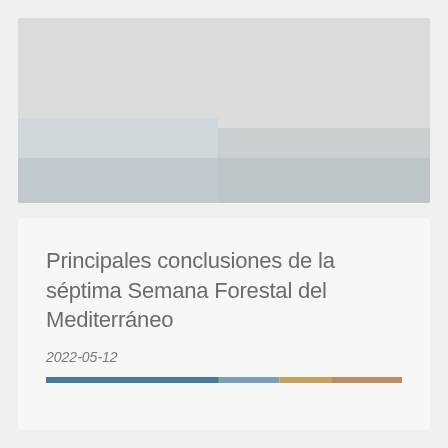[Figure (photo): Large photographic image block at top of page, appears to show a forest or natural landscape scene, light grey placeholder.]
Principales conclusiones de la séptima Semana Forestal del Mediterráneo
2022-05-12